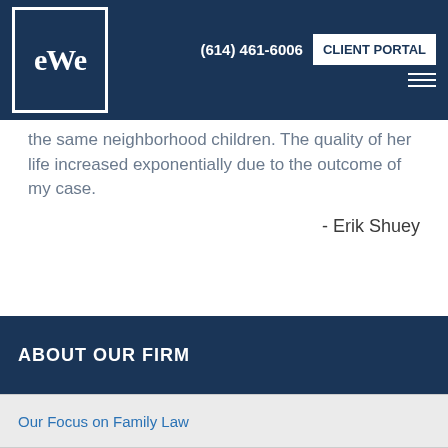(614) 461-6006  CLIENT PORTAL
the same neighborhood children. The quality of her life increased exponentially due to the outcome of my case.
- Erik Shuey
[Figure (illustration): Large dark blue closing quotation mark decorative icon]
ABOUT OUR FIRM
Our Focus on Family Law
Testimonials